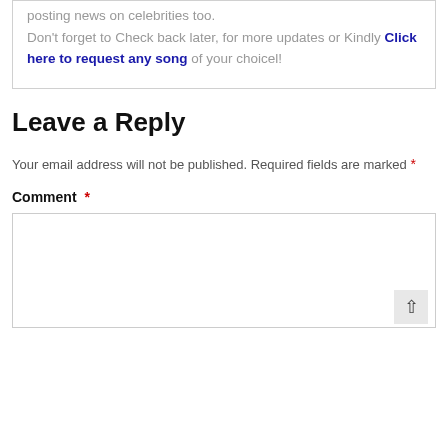posting news on celebrities too. Don't forget to Check back later, for more updates or Kindly Click here to request any song of your choicel!
Leave a Reply
Your email address will not be published. Required fields are marked *
Comment *